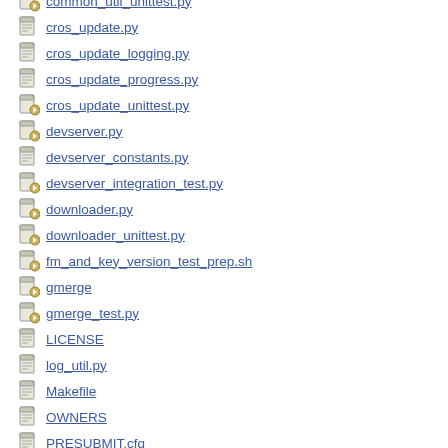common_util_unittest.py
cros_update.py
cros_update_logging.py
cros_update_progress.py
cros_update_unittest.py
devserver.py
devserver_constants.py
devserver_integration_test.py
downloader.py
downloader_unittest.py
fm_and_key_version_test_prep.sh
gmerge
gmerge_test.py
LICENSE
log_util.py
Makefile
OWNERS
PRESUBMIT.cfg
retry.py